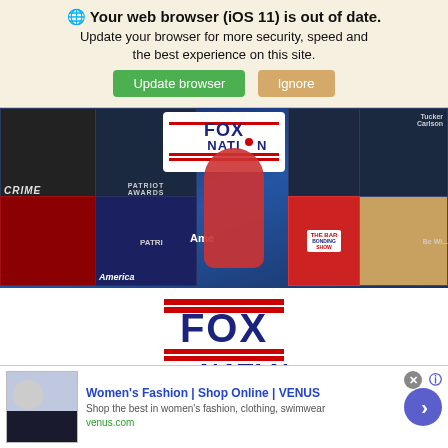🌐 Your web browser (iOS 11) is out of date. Update your browser for more security, speed and the best experience on this site.
Update browser | Ignore
[Figure (screenshot): Fox Nation website hero banner showing various show thumbnails including Crime, Patriot Awards, America, with Fox Nation logo overlay]
[Figure (logo): Fox Nation large logo — FOX in large blue bold text, NATION below with a star replacing the O, red horizontal stripes above and below, on a white rounded rectangle background]
FOX NATION
Fox Nation is an entertainment streaming service brought to you by FOX
[Figure (screenshot): Ad banner: Women's Fashion | Shop Online | VENUS — Shop the best in women's fashion, clothing, swimwear — venus.com]